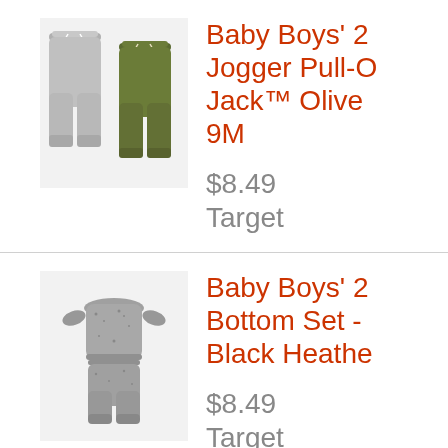[Figure (photo): Two pairs of baby jogger pants – one grey, one olive green, with drawstring waists]
Baby Boys' 2 Jogger Pull-On - Cat & Jack™ Olive Green 9M
$8.49
Target
[Figure (photo): Baby 2-piece top and bottom set in black heather grey marled knit fabric]
Baby Boys' 2 Bottom Set - Black Heather
$8.49
Target